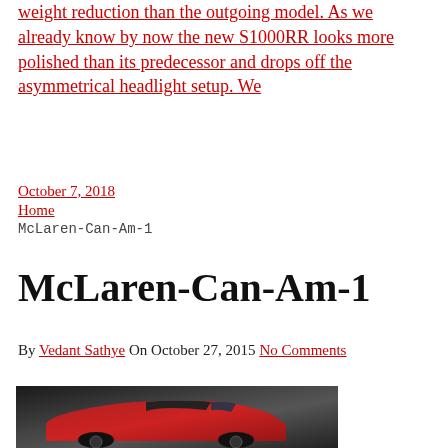weight reduction than the outgoing model. As we already know by now the new S1000RR looks more polished than its predecessor and drops off the asymmetrical headlight setup. We
October 7, 2018
Home
McLaren-Can-Am-1
McLaren-Can-Am-1
By Vedant Sathye On October 27, 2015 No Comments
[Figure (photo): Red McLaren Can-Am sports car photographed from a slightly elevated front-side angle, showing the carbon fiber hood and body panels against a dark grey background]